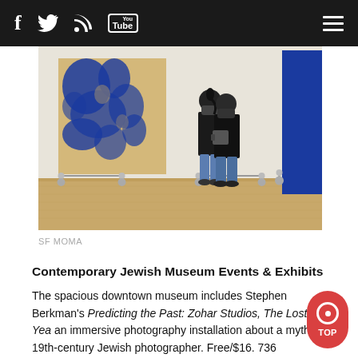f [twitter] [rss] [YouTube] [menu]
[Figure (photo): Two museum visitors wearing masks looking at large abstract blue and gold paintings in a contemporary art gallery with wooden floors and rope barriers]
SF MOMA
Contemporary Jewish Museum Events & Exhibits
The spacious downtown museum includes Stephen Berkman's Predicting the Past: Zohar Studios, The Lost Yea an immersive photography installation about a mythical 19th-century Jewish photographer. Free/$16. 736